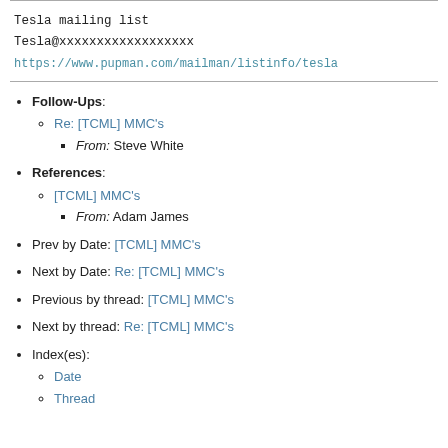Tesla mailing list
Tesla@xxxxxxxxxxxxxxxxxx
https://www.pupman.com/mailman/listinfo/tesla
Follow-Ups:
Re: [TCML] MMC's
From: Steve White
References:
[TCML] MMC's
From: Adam James
Prev by Date: [TCML] MMC's
Next by Date: Re: [TCML] MMC's
Previous by thread: [TCML] MMC's
Next by thread: Re: [TCML] MMC's
Index(es):
Date
Thread